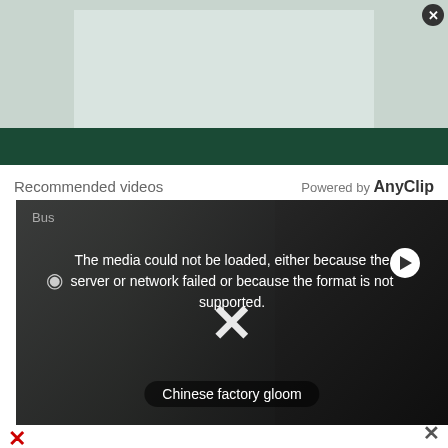[Figure (screenshot): Top advertisement banner with muted green/gray background and dark green bar at bottom]
Recommended videos
Powered by AnyClip
[Figure (screenshot): Video player showing error message: 'The media could not be loaded, either because the server or network failed or because the format is not supported.' with an X overlay and 'Chinese factory gloom' label at bottom]
[Figure (screenshot): Bottom advertisement banner: 'The perfect gift' with bowl imagery, arrows, and '35% OFF + FREE SHIPPING' orange section]